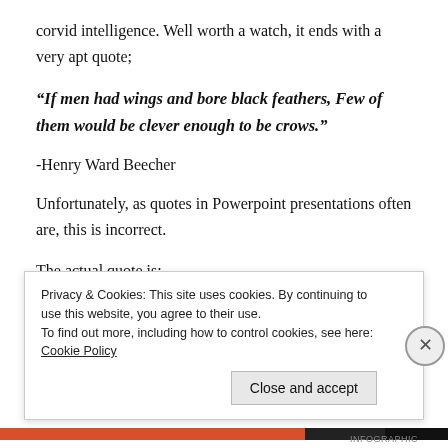corvid intelligence. Well worth a watch, it ends with a very apt quote;
“If men had wings and bore black feathers, Few of them would be clever enough to be crows.”
-Henry Ward Beecher
Unfortunately, as quotes in Powerpoint presentations often are, this is incorrect.
The actual quote is;
Privacy & Cookies: This site uses cookies. By continuing to use this website, you agree to their use.
To find out more, including how to control cookies, see here: Cookie Policy
Close and accept